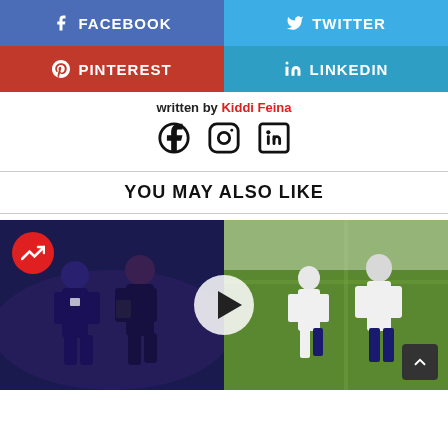[Figure (screenshot): Share buttons: Facebook (blue-purple), Twitter (light blue), Pinterest (red), LinkedIn (blue)]
Written by Kiddi Femia
[Figure (other): Social media icons: Facebook, Instagram, LinkedIn]
YOU MAY ALSO LIKE
[Figure (photo): Two-panel sports photo showing football/soccer players, with a trending badge and play button overlay]